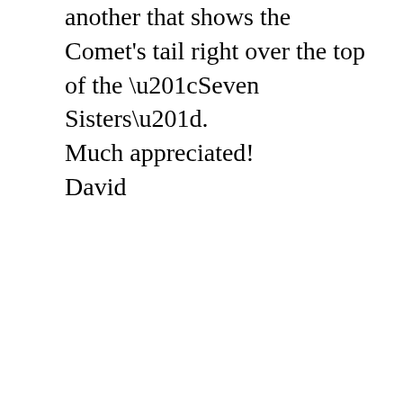another that shows the Comet's tail right over the top of the “Seven Sisters”.
Much appreciated!
David